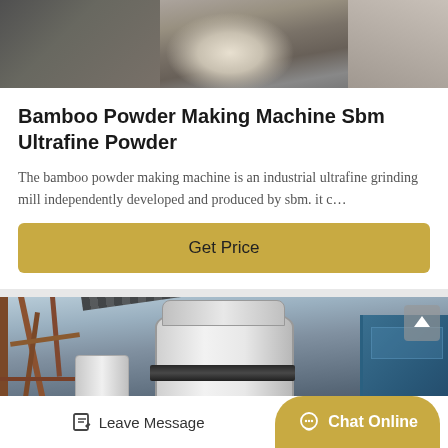[Figure (photo): Close-up photo of industrial machinery components, appears to show grinding or milling equipment parts in grey tones]
Bamboo Powder Making Machine Sbm Ultrafine Powder
The bamboo powder making machine is an industrial ultrafine grinding mill independently developed and produced by sbm. it c…
Get Price
[Figure (photo): Industrial photo of a large ultrafine powder grinding mill installation, showing cylindrical machines, steel structure framework, conveyor belts, and blue industrial box, with red component at bottom]
Leave Message   Chat Online